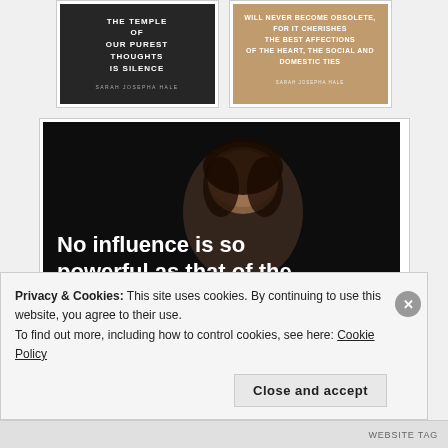[Figure (illustration): Dark background quote image: 'THE TEMPLE OF OUR PUREST THOUGHTS IS SILENCE' attributed to SARAH JOSEPHA HALE]
[Figure (illustration): Warm-toned quote image: 'WILL NEVER BECOME OBSOLETE, FOR IT CHERISHES THE BEST AFFECTIONS OF THE HEART, THE SOCIAL AND DOMESTIC TIES' attributed to SARAH JOSEPHA HALE]
[Figure (illustration): Large dark photo of a woman with overlaid bold white text: 'No influence is so powerful as that of the mother.']
Privacy & Cookies: This site uses cookies. By continuing to use this website, you agree to their use.
To find out more, including how to control cookies, see here: Cookie Policy
Close and accept
WEBSITE TAG